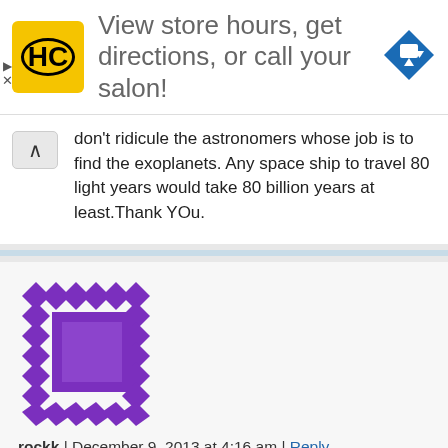[Figure (logo): Haircut salon ad banner with HC logo in yellow circle, blue navigation arrow icon, and text: View store hours, get directions, or call your salon!]
don't ridicule the astronomers whose job is to find the exoplanets. Any space ship to travel 80 light years would take 80 billion years at least.Thank YOu.
[Figure (illustration): Purple geometric avatar icon for user rockk]
rockk | December 9, 2013 at 4:16 am | Reply
it s obviously the Deatrh Star.